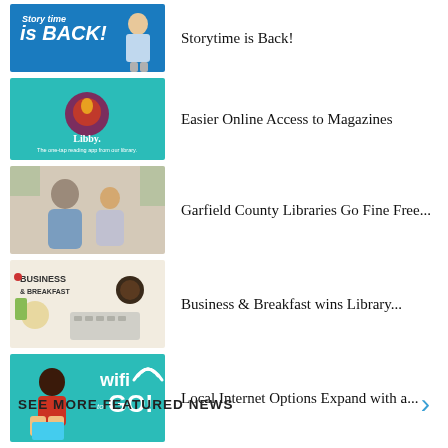[Figure (photo): Storytime is Back! promotional banner with blue background and child image]
Storytime is Back!
[Figure (photo): Libby app logo - The one-tap reading app from our library, teal background]
Easier Online Access to Magazines
[Figure (photo): Photo of grandfather and grandchild sitting together]
Garfield County Libraries Go Fine Free...
[Figure (photo): Business & Breakfast promotional image with food and keyboard]
Business & Breakfast wins Library...
[Figure (photo): Wifi to GO! promotional image with woman on laptop, teal background]
Local Internet Options Expand with a...
SEE MORE FEATURED NEWS